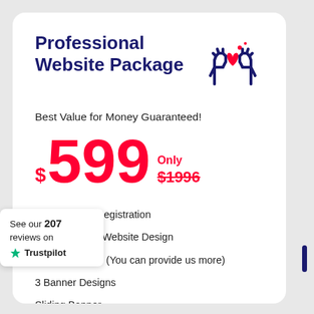Professional Website Package
Best Value for Money Guaranteed!
$599 Only $1996
Free Domain Registration
Up to 5 Pages Website Design
5 Stock Photos (You can provide us more)
3 Banner Designs
Sliding Banner
...ects
...sional Email ID's
Search Engine Submission
See our 207 reviews on Trustpilot